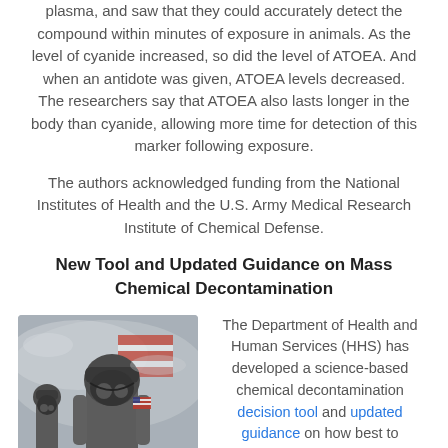plasma, and saw that they could accurately detect the compound within minutes of exposure in animals. As the level of cyanide increased, so did the level of ATOEA. And when an antidote was given, ATOEA levels decreased. The researchers say that ATOEA also lasts longer in the body than cyanide, allowing more time for detection of this marker following exposure.
The authors acknowledged funding from the National Institutes of Health and the U.S. Army Medical Research Institute of Chemical Defense.
New Tool and Updated Guidance on Mass Chemical Decontamination
[Figure (photo): Firefighters or hazmat responders in protective gear and gas masks in a smoky/foggy outdoor setting, with an American flag visible in the background.]
The Department of Health and Human Services (HHS) has developed a science-based chemical decontamination decision tool and updated guidance on how best to decontaminate a massive number of people after